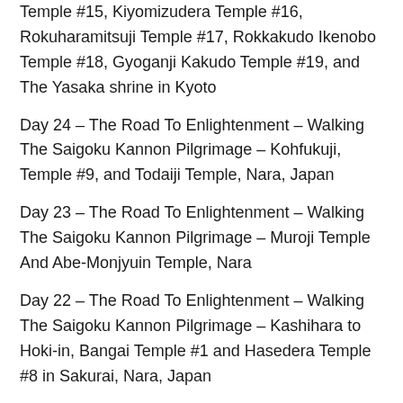Temple #15, Kiyomizudera Temple #16, Rokuharamitsuji Temple #17, Rokkakudo Ikenobo Temple #18, Gyoganji Kakudo Temple #19, and The Yasaka shrine in Kyoto
Day 24 – The Road To Enlightenment – Walking The Saigoku Kannon Pilgrimage – Kohfukuji, Temple #9, and Todaiji Temple, Nara, Japan
Day 23 – The Road To Enlightenment – Walking The Saigoku Kannon Pilgrimage – Muroji Temple And Abe-Monjyuin Temple, Nara
Day 22 – The Road To Enlightenment – Walking The Saigoku Kannon Pilgrimage – Kashihara to Hoki-in, Bangai Temple #1 and Hasedera Temple #8 in Sakurai, Nara, Japan
Day 21 – The Road To Enlightenment – Walking The Saigoku Kannon Pilgrimage – Temple #6 (Tsubosaka-